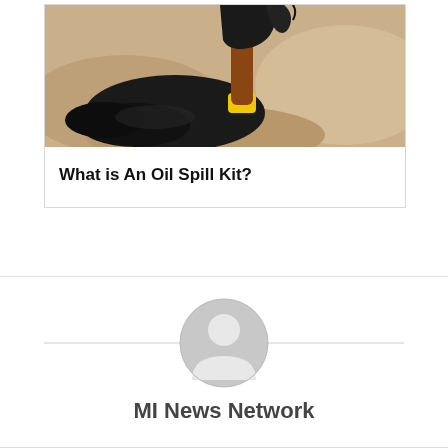[Figure (photo): Close-up photo of a yellow tool/scraper dripping black crude oil onto a sandy/rocky surface with an oil spill puddle]
What is An Oil Spill Kit?
[Figure (illustration): Generic gray circular user/avatar icon for MI News Network author profile]
MI News Network